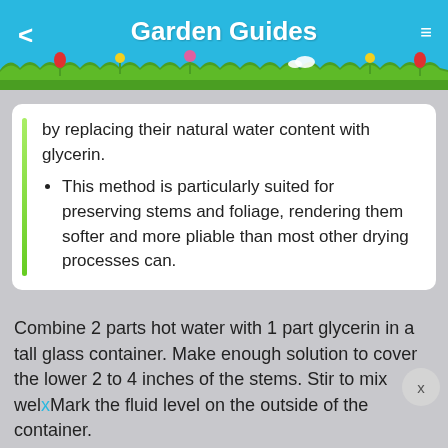Garden Guides
by replacing their natural water content with glycerin.
This method is particularly suited for preserving stems and foliage, rendering them softer and more pliable than most other drying processes can.
Combine 2 parts hot water with 1 part glycerin in a tall glass container. Make enough solution to cover the lower 2 to 4 inches of the stems. Stir to mix welxMark the fluid level on the outside of the container.